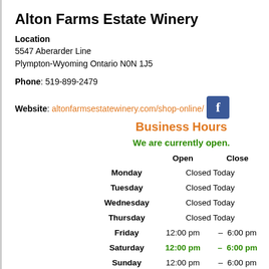Alton Farms Estate Winery
Location
5547 Aberarder Line
Plympton-Wyoming Ontario N0N 1J5
Phone: 519-899-2479
Website: altonfarmsestatewinery.com/shop-online/
[Figure (logo): Facebook icon logo - blue square with white F letter]
Business Hours
We are currently open.
|  | Open | Close |
| --- | --- | --- |
| Monday | Closed Today |  |
| Tuesday | Closed Today |  |
| Wednesday | Closed Today |  |
| Thursday | Closed Today |  |
| Friday | 12:00 pm | 6:00 pm |
| Saturday | 12:00 pm | 6:00 pm |
| Sunday | 12:00 pm | 6:00 pm |